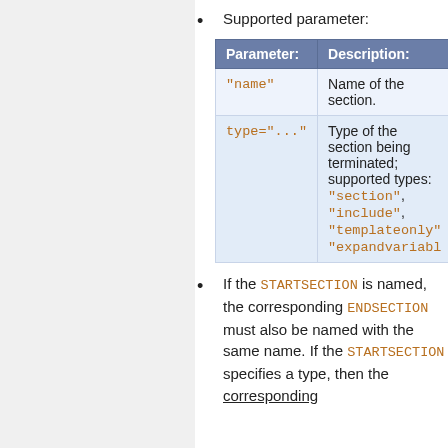Supported parameter:
| Parameter: | Description: |
| --- | --- |
| "name" | Name of the section. |
| type="..." | Type of the section being terminated; supported types: "section", "include", "templateonly", "expandvariabl... |
If the STARTSECTION is named, the corresponding ENDSECTION must also be named with the same name. If the STARTSECTION specifies a type, then the corresponding...